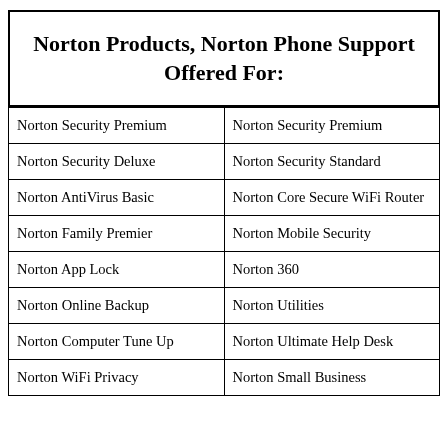Norton Products, Norton Phone Support Offered For:
| Norton Security Premium | Norton Security Premium |
| Norton Security Deluxe | Norton Security Standard |
| Norton AntiVirus Basic | Norton Core Secure WiFi Router |
| Norton Family Premier | Norton Mobile Security |
| Norton App Lock | Norton 360 |
| Norton Online Backup | Norton Utilities |
| Norton Computer Tune Up | Norton Ultimate Help Desk |
| Norton WiFi Privacy | Norton Small Business |